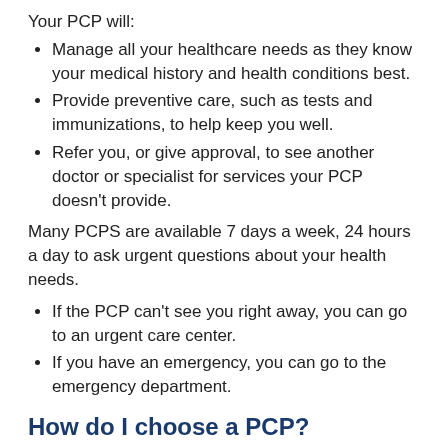Your PCP will:
Manage all your healthcare needs as they know your medical history and health conditions best.
Provide preventive care, such as tests and immunizations, to help keep you well.
Refer you, or give approval, to see another doctor or specialist for services your PCP doesn't provide.
Many PCPS are available 7 days a week, 24 hours a day to ask urgent questions about your health needs.
If the PCP can't see you right away, you can go to an urgent care center.
If you have an emergency, you can go to the emergency department.
How do I choose a PCP?
To see who is accepting new MaineCare members, call